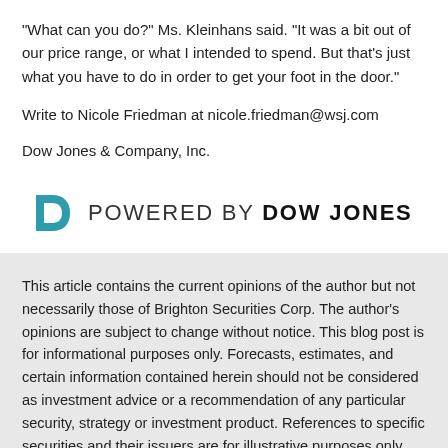“What can you do?” Ms. Kleinhans said. “It was a bit out of our price range, or what I intended to spend. But that’s just what you have to do in order to get your foot in the door.”
Write to Nicole Friedman at nicole.friedman@wsj.com
Dow Jones & Company, Inc.
[Figure (logo): Powered by Dow Jones logo with teal D icon followed by text POWERED BY DOW JONES in uppercase]
This article contains the current opinions of the author but not necessarily those of Brighton Securities Corp. The author’s opinions are subject to change without notice. This blog post is for informational purposes only. Forecasts, estimates, and certain information contained herein should not be considered as investment advice or a recommendation of any particular security, strategy or investment product. References to specific securities and their issuers are for illustrative purposes only and are not intended and should not be interpreted as recommendations to purchase or sell such securities.